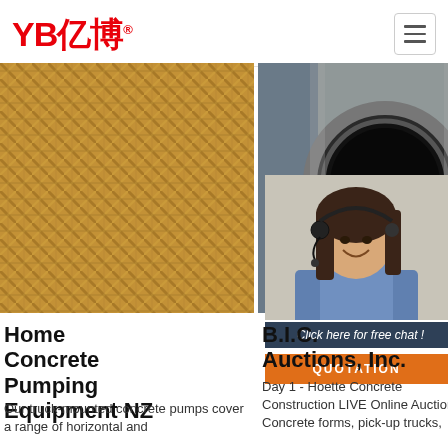[Figure (logo): YB亿博 logo in red with registered trademark symbol and hamburger menu icon]
[Figure (photo): Close-up of braided steel/gold hydraulic hose exterior]
[Figure (photo): Close-up of black rubber hydraulic hose end opening held in hand]
[Figure (photo): Customer service agent woman with headset smiling, 24/7 Online banner above]
24/7 Online
Click here for free chat !
QUOTATION
Home Concrete Pumping Equipment NZ
Our truck-mounted concrete pumps cover a range of horizontal and
B.I.C. Auctions, Inc.
Day 1 - Hoette Concrete Construction LIVE Online Auction Concrete forms, pick-up trucks,
Schedule of Equipment Rates
2021-11-5u2002·u2002The rates on this Schedule of Equipment Rates